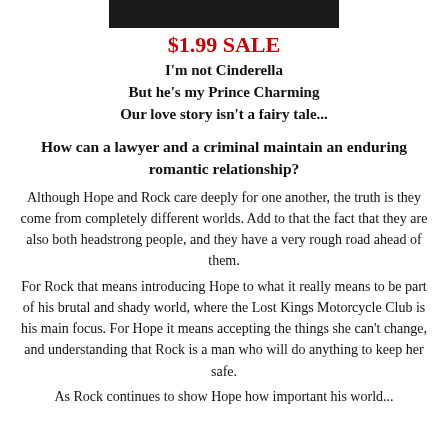[Figure (photo): Top portion of a book cover image, mostly dark/black]
$1.99 SALE
I'm not Cinderella
But he's my Prince Charming
Our love story isn't a fairy tale...
How can a lawyer and a criminal maintain an enduring romantic relationship?
Although Hope and Rock care deeply for one another, the truth is they come from completely different worlds. Add to that the fact that they are also both headstrong people, and they have a very rough road ahead of them.
For Rock that means introducing Hope to what it really means to be part of his brutal and shady world, where the Lost Kings Motorcycle Club is his main focus. For Hope it means accepting the things she can't change, and understanding that Rock is a man who will do anything to keep her safe.
As Rock continues to show Hope how important his world...